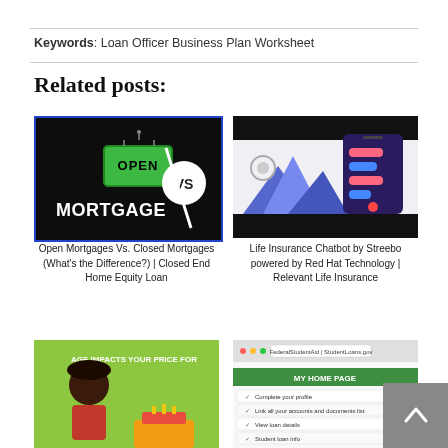Keywords: Loan Officer Business Plan Worksheet
Related posts:
[Figure (illustration): Open Mortgages vs Closed Mortgages graphic — dark background with green OPEN sign and 'MORTGAGE' text with VS badge]
Open Mortgages Vs. Closed Mortgages (What's the Difference?) | Closed End Home Equity Loan
[Figure (illustration): Life Insurance Chatbot by Streebo — smartphone with chat interface bubbles on light background, black bars top and bottom]
Life Insurance Chatbot by Streebo powered by Red Hat Technology | Relevant Life Insurance
[Figure (illustration): Partial image — green background with cartoon woman and text 'AGE IMPACTS YOUR PRICE FOR...']
[Figure (screenshot): Partial screenshot of a web page with Federal Student Aid / StudentLoans.gov header and a form table with green checkmarks]